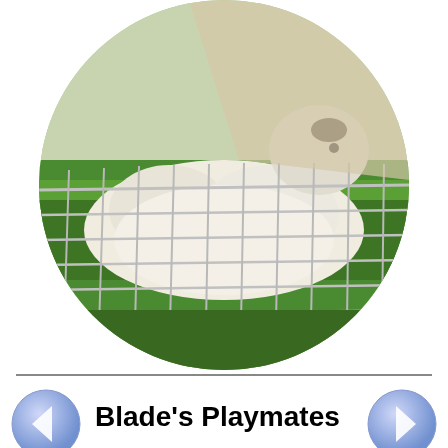[Figure (photo): Circular cropped photo of a white fluffy dog or animal inside a wire cage/crate on green grass]
Blade's Playmates
Over the many months that Blade has been here his play style has evolved. He started out really rough and tumble. Blondie Bear (our biggest do other than Blade) would play with him some times, but just for a while, then tell him off and go sit in her watchtower. But recently has has mellowed and can scale his play to match his playmate. He and Luna play regularly. She a sturdy girl. He tried to play with Buddy Beagle once, but Buddy just said, “Go away boy, yer bothering me.” and Blade wandered off to find someone less